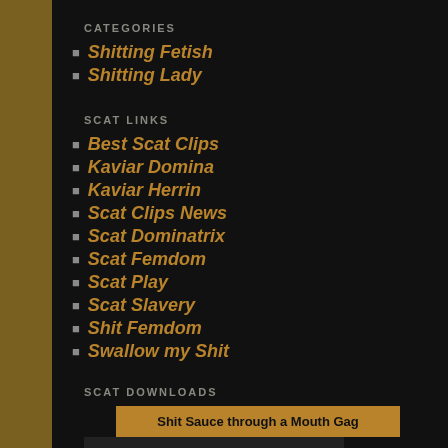CATEGORIES
Shitting Fetish
Shitting Lady
SCAT LINKS
Best Scat Clips
Kaviar Domina
Kaviar Herrin
Scat Clips News
Scat Dominatrix
Scat Femdom
Scat Play
Scat Slavery
Shit Femdom
Swallow my Shit
SCAT DOWNLOADS
[Figure (other): Download thumbnail box with title: Shit Sauce through a Mouth Gag]